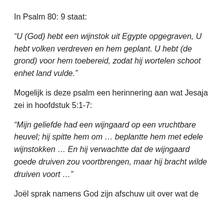In Psalm 80: 9 staat:
“U (God) hebt een wijnstok uit Egypte opgegraven, U hebt volken verdreven en hem geplant. U hebt (de grond) voor hem toebereid, zodat hij wortelen schoot enhet land vulde.”
Mogelijk is deze psalm een herinnering aan wat Jesaja zei in hoofdstuk 5:1-7:
“Mijn geliefde had een wijngaard op een vruchtbare heuvel; hij spitte hem om … beplantte hem met edele wijnstokken … En hij verwachtte dat de wijngaard goede druiven zou voortbrengen, maar hij bracht wilde druiven voort …”
Joël sprak namens God zijn afschuw uit over wat de